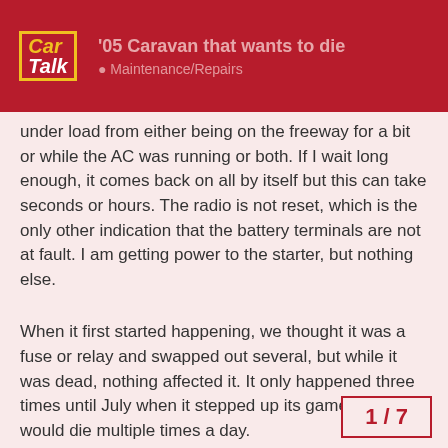'05 Caravan that wants to die • Maintenance/Repairs
under load from either being on the freeway for a bit or while the AC was running or both. If I wait long enough, it comes back on all by itself but this can take seconds or hours. The radio is not reset, which is the only other indication that the battery terminals are not at fault. I am getting power to the starter, but nothing else.
When it first started happening, we thought it was a fuse or relay and swapped out several, but while it was dead, nothing affected it. It only happened three times until July when it stepped up its game and would die multiple times a day.
1 / 7